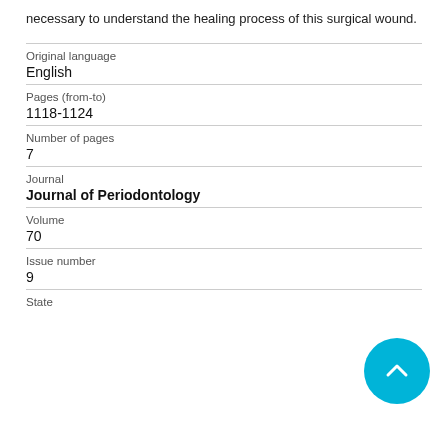necessary to understand the healing process of this surgical wound.
| Original language | English |
| Pages (from-to) | 1118-1124 |
| Number of pages | 7 |
| Journal | Journal of Periodontology |
| Volume | 70 |
| Issue number | 9 |
| State |  |